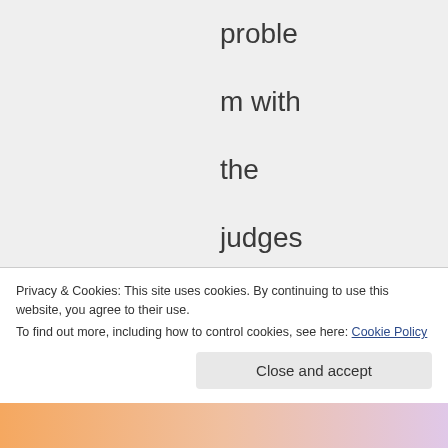problem with the judges using their religion rather than the
Privacy & Cookies: This site uses cookies. By continuing to use this website, you agree to their use.
To find out more, including how to control cookies, see here: Cookie Policy